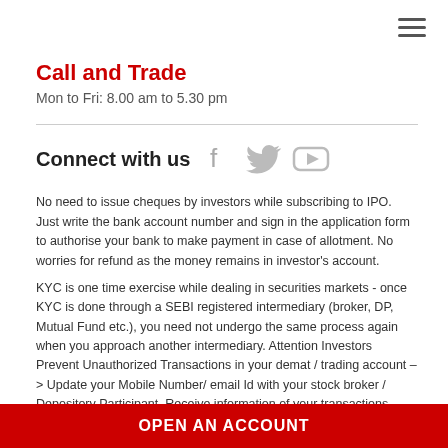Call and Trade
Mon to Fri: 8.00 am to 5.30 pm
Connect with us
No need to issue cheques by investors while subscribing to IPO. Just write the bank account number and sign in the application form to authorise your bank to make payment in case of allotment. No worries for refund as the money remains in investor's account.
KYC is one time exercise while dealing in securities markets - once KYC is done through a SEBI registered intermediary (broker, DP, Mutual Fund etc.), you need not undergo the same process again when you approach another intermediary. Attention Investors Prevent Unauthorized Transactions in your demat / trading account –> Update your Mobile Number/ email Id with your stock broker / Depository Participant. Receive information of your transactions directly from Exchanges on your mobile / email at the end of the day and alerts on your mobile for all debits and other important transactions...
OPEN AN ACCOUNT